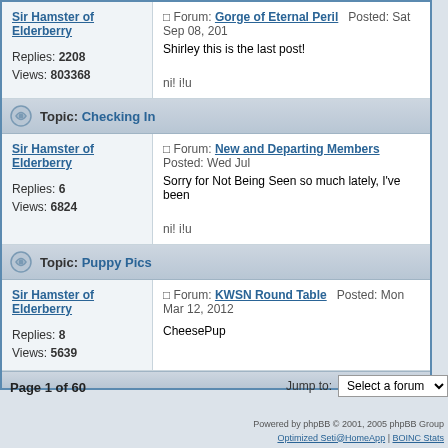Sir Hamster of Elderberry | Forum: Gorge of Eternal Peril Posted: Sat Sep 08, 201... Replies: 2208 Views: 803368 | Shirley this is the last post! ni! i!u
Topic: Checking In
Sir Hamster of Elderberry | Forum: New and Departing Members Posted: Wed Jul... Replies: 6 Views: 6824 | Sorry for Not Being Seen so much lately, I've been... ni! i!u
Topic: Puppy Pics
Sir Hamster of Elderberry | Forum: KWSN Round Table Posted: Mon Mar 12, 2012 Replies: 8 Views: 5639 | CheesePup
Page 1 of 60
Powered by phpBB © 2001, 2005 phpBB Group | Optimized Seti@HomeApp | BOINC Stats